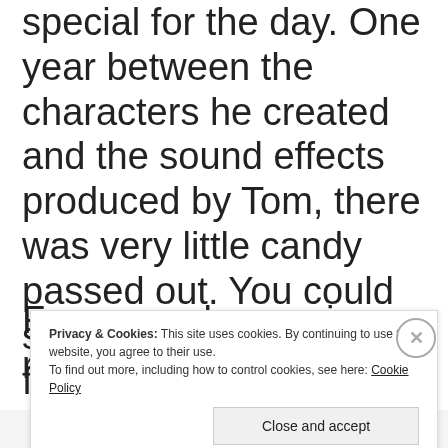special for the day. One year between the characters he created and the sound effects produced by Tom, there was very little candy passed out. You could see mothers and fathers moving their little goblins across the street to safety.
For several years in a row, the
Privacy & Cookies: This site uses cookies. By continuing to use this website, you agree to their use.
To find out more, including how to control cookies, see here: Cookie Policy
Close and accept